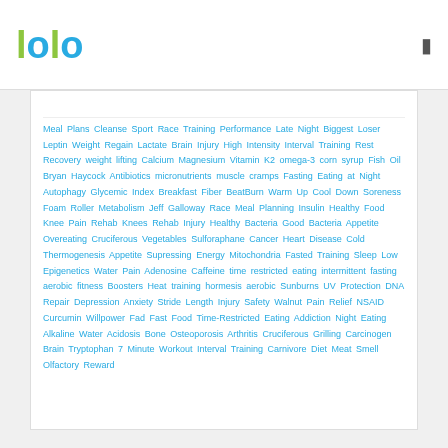[Figure (logo): lolo logo with green 'l' characters and blue 'o' characters]
Meal Plans Cleanse Sport Race Training Performance Late Night Biggest Loser Leptin Weight Regain Lactate Brain Injury High Intensity Interval Training Rest Recovery weight lifting Calcium Magnesium Vitamin K2 omega-3 corn syrup Fish Oil Bryan Haycock Antibiotics micronutrients muscle cramps Fasting Eating at Night Autophagy Glycemic Index Breakfast Fiber BeatBurn Warm Up Cool Down Soreness Foam Roller Metabolism Jeff Galloway Race Meal Planning Insulin Healthy Food Knee Pain Rehab Knees Rehab Injury Healthy Bacteria Good Bacteria Appetite Overeating Cruciferous Vegetables Sulforaphane Cancer Heart Disease Cold Thermogenesis Appetite Supressing Energy Mitochondria Fasted Training Sleep Low Epigenetics Water Pain Adenosine Caffeine time restricted eating intermittent fasting aerobic fitness Boosters Heat training hormesis aerobic Sunburns UV Protection DNA Repair Depression Anxiety Stride Length Injury Safety Walnut Pain Relief NSAID Curcumin Willpower Fad Fast Food Time-Restricted Eating Addiction Night Eating Alkaline Water Acidosis Bone Osteoporosis Arthritis Cruciferous Grilling Carcinogen Brain Tryptophan 7 Minute Workout Interval Training Carnivore Diet Meat Smell Olfactory Reward